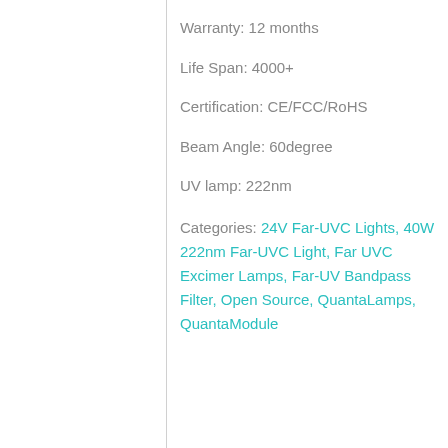Warranty: 12 months
Life Span: 4000+
Certification: CE/FCC/RoHS
Beam Angle: 60degree
UV lamp: 222nm
Categories: 24V Far-UVC Lights, 40W 222nm Far-UVC Light, Far UVC Excimer Lamps, Far-UV Bandpass Filter, Open Source, QuantaLamps, QuantaModule